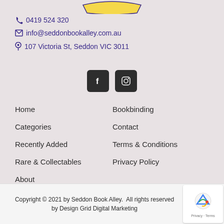[Figure (logo): Seddon Book Alley logo — partial yellow badge shape at top]
📞 0419 524 320
✉ info@seddonbookalley.com.au
📍 107 Victoria St, Seddon VIC 3011
[Figure (other): Facebook and Instagram social media icon buttons (dark square rounded buttons)]
Home
Bookbinding
Categories
Contact
Recently Added
Terms & Conditions
Rare & Collectables
Privacy Policy
About
Copyright © 2021 by Seddon Book Alley.  All rights reserved by Design Grid Digital Marketing